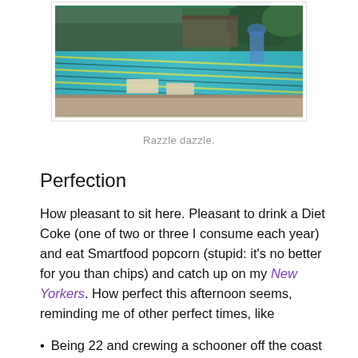[Figure (photo): Outdoor swimming pool with lane markers, green building in background, surrounded by trees on a sunny day. Brick/stone pool deck in foreground.]
Razzle dazzle.
Perfection
How pleasant to sit here. Pleasant to drink a Diet Coke (one of two or three I consume each year) and eat Smartfood popcorn (stupid: it's no better for you than chips) and catch up on my New Yorkers. How perfect this afternoon seems, reminding me of other perfect times, like
Being 22 and crewing a schooner off the coast